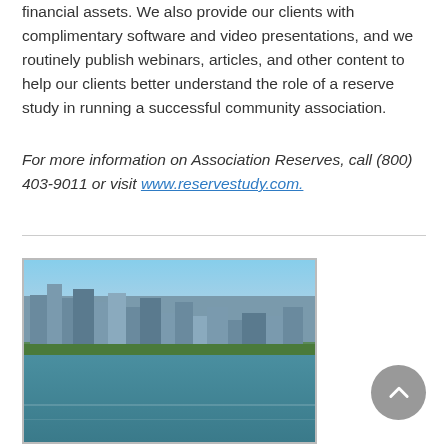financial assets. We also provide our clients with complimentary software and video presentations, and we routinely publish webinars, articles, and other content to help our clients better understand the role of a reserve study in running a successful community association.
For more information on Association Reserves, call (800) 403-9011 or visit www.reservestudy.com.
[Figure (photo): Aerial photo of a coastal city with tall buildings, waterfront homes with red roofs, palm trees, and a bay or harbor with calm water in the foreground.]